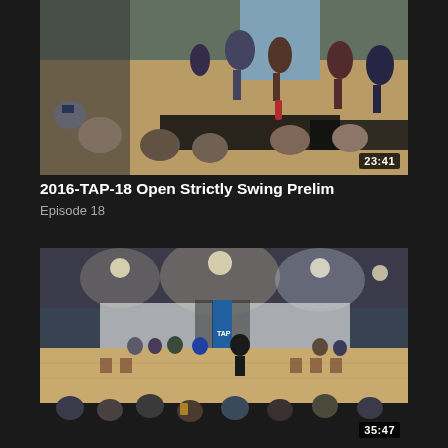[Figure (photo): Video thumbnail showing a dance competition floor with multiple couples swing dancing in a ballroom setting. Spectators are seated at tables in the foreground. Duration badge shows 23:41.]
2016-TAP-18 Open Strictly Swing Prelim
Episode 18
[Figure (photo): Video thumbnail showing a ballroom competition with contestants lined up on a wooden dance floor. TAP event banners visible in background. Audience seated in foreground. Duration badge shows 35:47.]